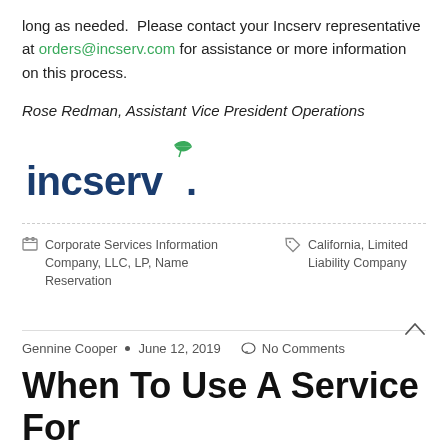long as needed.  Please contact your Incserv representative at orders@incserv.com for assistance or more information on this process.
Rose Redman, Assistant Vice President Operations
[Figure (logo): Incserv logo: lowercase 'incserv' in dark blue with a green leaf sprouting from the top of the 'v', followed by a period.]
Corporate Services Information Company, LLC, LP, Name Reservation
California, Limited Liability Company
Gennine Cooper • June 12, 2019 • No Comments
When To Use A Service For